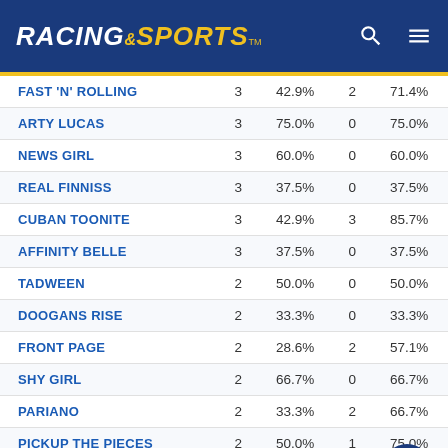RACING AND SPORTS
| Horse | Col2 | Col3 | Col4 | Col5 |
| --- | --- | --- | --- | --- |
| FAST 'N' ROLLING | 3 | 42.9% | 2 | 71.4% |
| ARTY LUCAS | 3 | 75.0% | 0 | 75.0% |
| NEWS GIRL | 3 | 60.0% | 0 | 60.0% |
| REAL FINNISS | 3 | 37.5% | 0 | 37.5% |
| CUBAN TOONITE | 3 | 42.9% | 3 | 85.7% |
| AFFINITY BELLE | 3 | 37.5% | 0 | 37.5% |
| TADWEEN | 2 | 50.0% | 0 | 50.0% |
| DOOGANS RISE | 2 | 33.3% | 0 | 33.3% |
| FRONT PAGE | 2 | 28.6% | 2 | 57.1% |
| SHY GIRL | 2 | 66.7% | 0 | 66.7% |
| PARIANO | 2 | 33.3% | 2 | 66.7% |
| PICKUP THE PIECES | 2 | 50.0% | 1 | 75.0% |
| GOROKAN EXPRESS | 2 | 16.7% | 4 | 50% |
| BARBIE'S FOX | 2 | 14.3% | 4 | 42.9% |